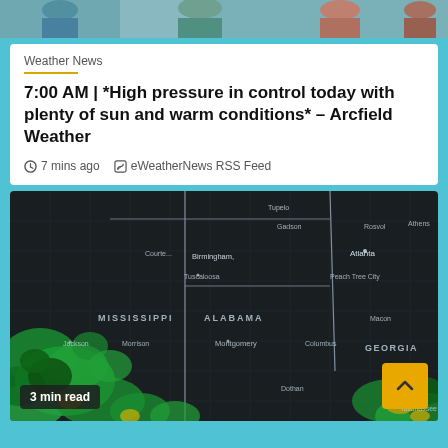[Figure (photo): Top strip photo of people/crowd scene]
Weather News
7:00 AM | *High pressure in control today with plenty of sun and warm conditions* – Arcfield Weather
7 mins ago   eWeatherNews RSS Feed
[Figure (map): Dark-themed weather radar map showing Mississippi, Alabama, and Georgia states with green and yellow radar returns in the southern portions indicating precipitation, with city labels including Birmingham, Atlanta, Montgomery, Jackson, Tuscaloosa, Columbus, Macon, Dothan, and Tallahassee]
3 min read